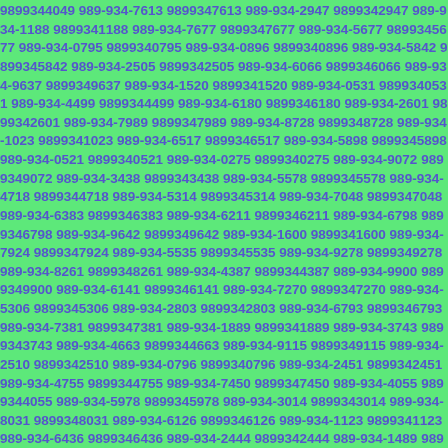9899344049 989-934-7613 9899347613 989-934-2947 9899342947 989-934-1188 9899341188 989-934-7677 9899347677 989-934-5677 9899345677 989-934-0795 9899340795 989-934-0896 9899340896 989-934-5842 9899345842 989-934-2505 9899342505 989-934-6066 9899346066 989-934-9637 9899349637 989-934-1520 9899341520 989-934-0531 9899340531 989-934-4499 9899344499 989-934-6180 9899346180 989-934-2601 9899342601 989-934-7989 9899347989 989-934-8728 9899348728 989-934-1023 9899341023 989-934-6517 9899346517 989-934-5898 9899345898 989-934-0521 9899340521 989-934-0275 9899340275 989-934-9072 9899349072 989-934-3438 9899343438 989-934-5578 9899345578 989-934-4718 9899344718 989-934-5314 9899345314 989-934-7048 9899347048 989-934-6383 9899346383 989-934-6211 9899346211 989-934-6798 9899346798 989-934-9642 9899349642 989-934-1600 9899341600 989-934-7924 9899347924 989-934-5535 9899345535 989-934-9278 9899349278 989-934-8261 9899348261 989-934-4387 9899344387 989-934-9900 9899349900 989-934-6141 9899346141 989-934-7270 9899347270 989-934-5306 9899345306 989-934-2803 9899342803 989-934-6793 9899346793 989-934-7381 9899347381 989-934-1889 9899341889 989-934-3743 9899343743 989-934-4663 9899344663 989-934-9115 9899349115 989-934-2510 9899342510 989-934-0796 9899340796 989-934-2451 9899342451 989-934-4755 9899344755 989-934-7450 9899347450 989-934-4055 9899344055 989-934-5978 9899345978 989-934-3014 9899343014 989-934-8031 9899348031 989-934-6126 9899346126 989-934-1123 9899341123 989-934-6436 9899346436 989-934-2444 9899342444 989-934-1489 9899341489 989-934-